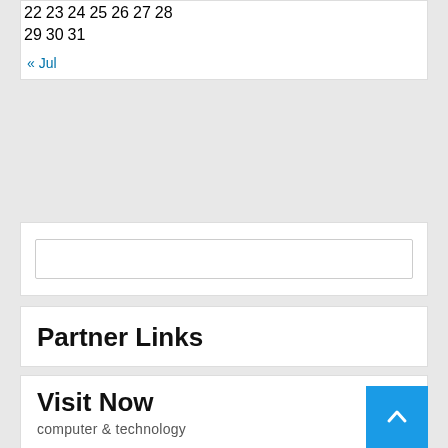| 22 | 23 | 24 | 25 | 26 | 27 | 28 |
| 29 | 30 | 31 |  |  |  |  |
« Jul
Partner Links
Visit Now
computer & technology